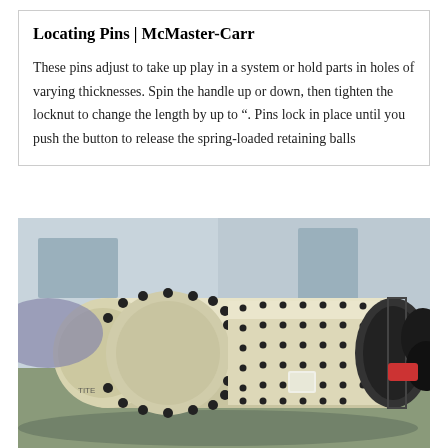Locating Pins | McMaster-Carr
These pins adjust to take up play in a system or hold parts in holes of varying thicknesses. Spin the handle up or down, then tighten the locknut to change the length by up to ". Pins lock in place until you push the button to release the spring-loaded retaining balls
[Figure (photo): Photograph of a large industrial ball mill machine — a large cream/beige colored cylindrical grinding vessel with bolted flanges and a ring gear, photographed in an industrial facility.]